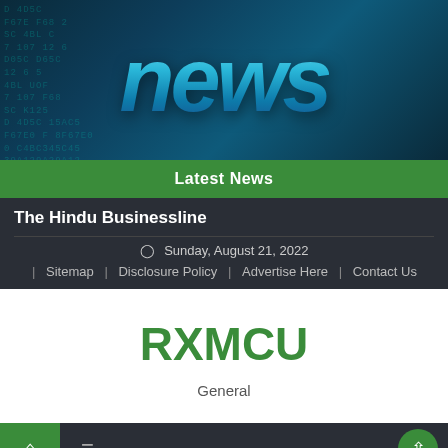[Figure (photo): News banner hero image with large glowing blue italic 'news' text over dark digital/code background with hexadecimal characters in teal]
Latest News
The Hindu Businessline
Sunday, August 21, 2022
Sitemap | Disclosure Policy | Advertise Here | Contact Us
RXMCU
General
TAG: BANGOR